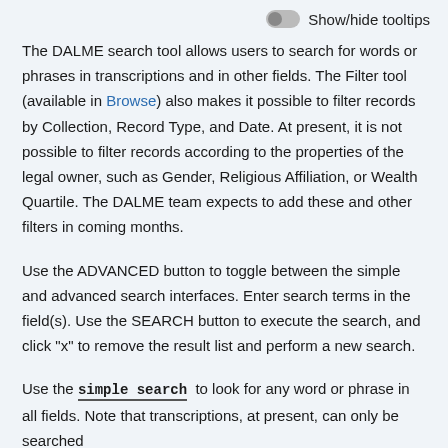Show/hide tooltips
The DALME search tool allows users to search for words or phrases in transcriptions and in other fields. The Filter tool (available in Browse) also makes it possible to filter records by Collection, Record Type, and Date. At present, it is not possible to filter records according to the properties of the legal owner, such as Gender, Religious Affiliation, or Wealth Quartile. The DALME team expects to add these and other filters in coming months.
Use the ADVANCED button to toggle between the simple and advanced search interfaces. Enter search terms in the field(s). Use the SEARCH button to execute the search, and click "x" to remove the result list and perform a new search.
Use the simple search  to look for any word or phrase in all fields. Note that transcriptions, at present, can only be searched